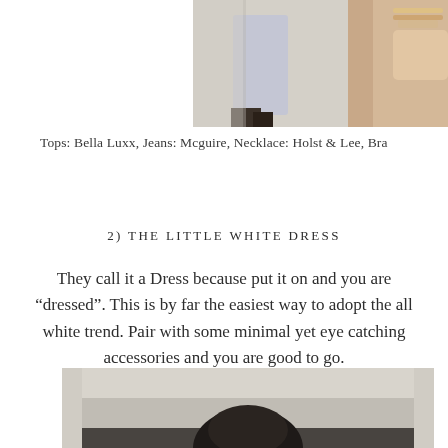[Figure (photo): Partial photo showing white/light gray jeans and legs with sandals, and an arm with bracelets on a balcony or stair railing]
Tops: Bella Luxx, Jeans: Mcguire, Necklace: Holst & Lee, Bra
2) THE LITTLE WHITE DRESS
They call it a Dress because put it on and you are “dressed”. This is by far the easiest way to adopt the all white trend. Pair with some minimal yet eye catching accessories and you are good to go.
[Figure (photo): Bottom portion of a photo showing a person with dark hair in an indoor setting]